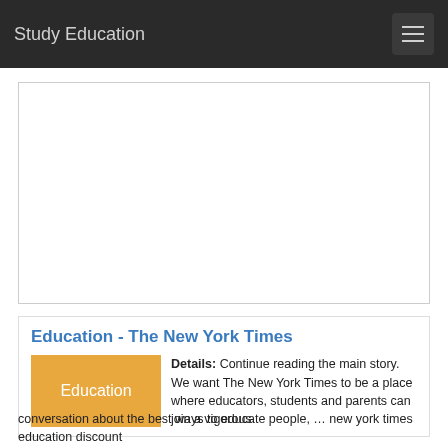Study Education
[Figure (other): Advertisement or placeholder image box (white rectangle with border)]
Education - The New York Times
[Figure (other): Orange thumbnail image with text 'Education']
Details: Continue reading the main story. We want The New York Times to be a place where educators, students and parents can join a vigorous conversation about the best ways to educate people, … new york times education discount
conversation about the best ways to educate people, … new york times education discount